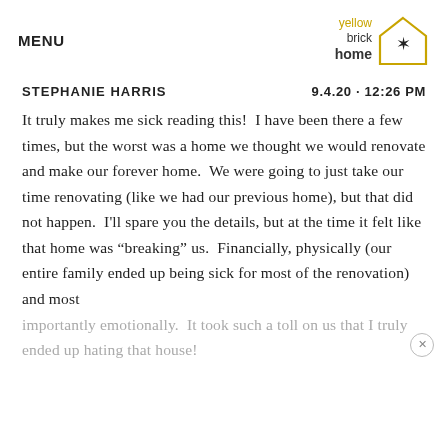MENU
[Figure (logo): Yellow Brick Home logo with house outline and star, text reads 'yellow brick home']
STEPHANIE HARRIS    9.4.20 · 12:26 PM
It truly makes me sick reading this!  I have been there a few times, but the worst was a home we thought we would renovate and make our forever home.  We were going to just take our time renovating (like we had our previous home), but that did not happen.  I'll spare you the details, but at the time it felt like that home was “breaking” us.  Financially, physically (our entire family ended up being sick for most of the renovation) and most importantly emotionally.  It took such a toll on us that I truly ended up hating that house!